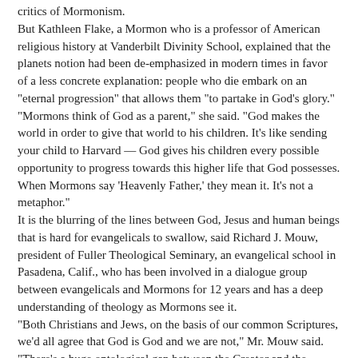critics of Mormonism.
But Kathleen Flake, a Mormon who is a professor of American religious history at Vanderbilt Divinity School, explained that the planets notion had been de-emphasized in modern times in favor of a less concrete explanation: people who die embark on an "eternal progression" that allows them "to partake in God's glory."
"Mormons think of God as a parent," she said. "God makes the world in order to give that world to his children. It's like sending your child to Harvard — God gives his children every possible opportunity to progress towards this higher life that God possesses. When Mormons say 'Heavenly Father,' they mean it. It's not a metaphor."
It is the blurring of the lines between God, Jesus and human beings that is hard for evangelicals to swallow, said Richard J. Mouw, president of Fuller Theological Seminary, an evangelical school in Pasadena, Calif., who has been involved in a dialogue group between evangelicals and Mormons for 12 years and has a deep understanding of theology as Mormons see it.
"Both Christians and Jews, on the basis of our common Scriptures, we'd all agree that God is God and we are not," Mr. Mouw said. "There's a huge ontological gap between the Creator and the creature. So any religious perspective that reduces that gap, you think, oh, wow, that could never be called Christian."
Mormons tend to explain the doctrinal differences more gently. Lane Williams, a Mormon and a professor of communications at Brigham Young University-Idaho, a Mormon institution, said the way he